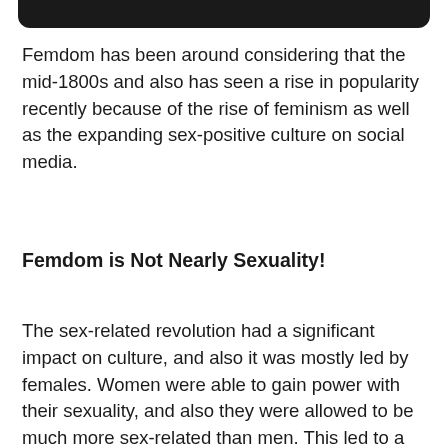[Figure (other): Black rounded rectangle bar at the top of the page]
Femdom has been around considering that the mid-1800s and also has seen a rise in popularity recently because of the rise of feminism as well as the expanding sex-positive culture on social media.
Femdom is Not Nearly Sexuality!
The sex-related revolution had a significant impact on culture, and also it was mostly led by females. Women were able to gain power with their sexuality, and also they were allowed to be much more sex-related than men. This led to a greater focus on women satisfaction, which came to be a crucial